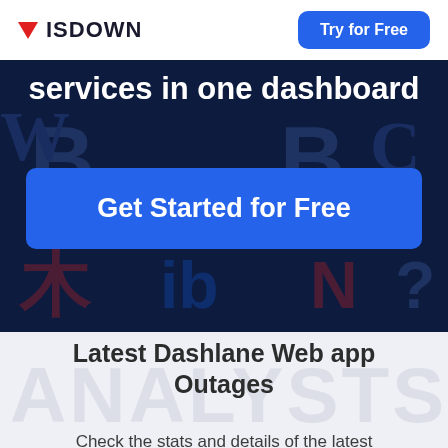ISDOWN | Try for Free
services in one dashboard
Get Started for Free
Latest Dashlane Web app Outages
Check the stats and details of the latest